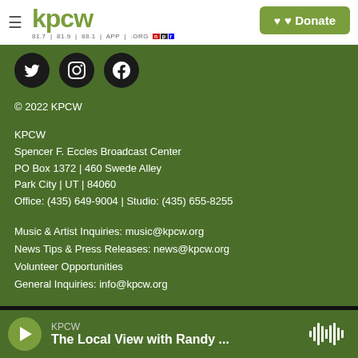KPCW — hamburger menu | Donate button
[Figure (logo): KPCW logo with tagline 81.7 | 81.9 | 88.1 | APP | .ORG and NPR badge]
[Figure (infographic): Three social media icons: Twitter, Instagram, Facebook (dark circles)]
© 2022 KPCW
KPCW
Spencer F. Eccles Broadcast Center
PO Box 1372 | 460 Swede Alley
Park City | UT | 84060
Office: (435) 649-9004 | Studio: (435) 655-8255
Music & Artist Inquiries: music@kpcw.org
News Tips & Press Releases: news@kpcw.org
Volunteer Opportunities
General Inquiries: info@kpcw.org
KPCW — The Local View with Randy ...